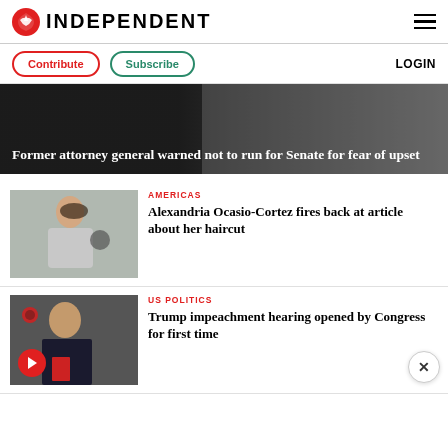INDEPENDENT
Contribute | Subscribe | LOGIN
[Figure (screenshot): Hero banner with dark background: 'Former attorney general warned not to run for Senate for fear of upset']
AMERICAS
[Figure (photo): Photo of Alexandria Ocasio-Cortez speaking with microphone]
Alexandria Ocasio-Cortez fires back at article about her haircut
US POLITICS
[Figure (photo): Photo of Corey Lewandowski at hearing with play button overlay]
Trump impeachment hearing opened by Congress for first time